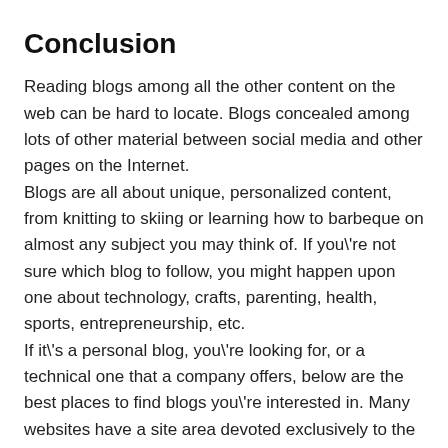Conclusion
Reading blogs among all the other content on the web can be hard to locate. Blogs concealed among lots of other material between social media and other pages on the Internet.
Blogs are all about unique, personalized content, from knitting to skiing or learning how to barbeque on almost any subject you may think of. If you\'re not sure which blog to follow, you might happen upon one about technology, crafts, parenting, health, sports, entrepreneurship, etc.
If it\'s a personal blog, you\'re looking for, or a technical one that a company offers, below are the best places to find blogs you\'re interested in. Many websites have a site area devoted exclusively to the blog of the business or individual. An easy way to locate a blog on a website